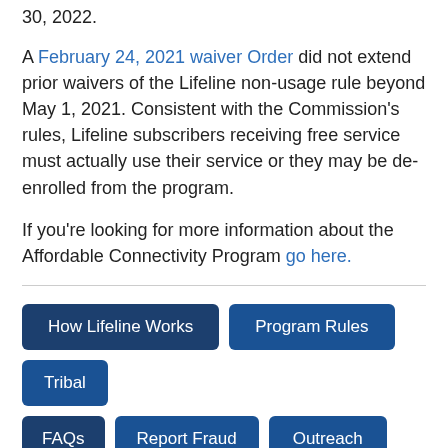30, 2022.
A February 24, 2021 waiver Order did not extend prior waivers of the Lifeline non-usage rule beyond May 1, 2021. Consistent with the Commission's rules, Lifeline subscribers receiving free service must actually use their service or they may be de-enrolled from the program.
If you're looking for more information about the Affordable Connectivity Program go here.
How Lifeline Works
Program Rules
Tribal
FAQs
Report Fraud
Outreach
ASL Video
How Lifeline Works